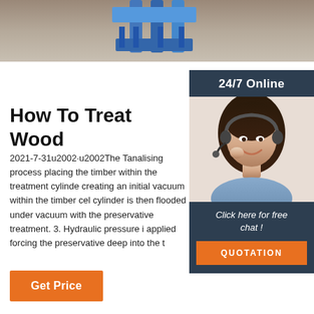[Figure (photo): Top strip photo showing sandy ground with blue industrial equipment/machinery in the background]
How To Treat Wood
2021-7-31u2002·u2002The Tanalising process placing the timber within the treatment cylinde creating an initial vacuum within the timber cel cylinder is then flooded under vacuum with the preservative treatment. 3. Hydraulic pressure i applied forcing the preservative deep into the t
[Figure (photo): Sidebar with '24/7 Online' header, photo of a woman with headset smiling, 'Click here for free chat!' text, and QUOTATION button]
Click here for free chat !
QUOTATION
Get Price